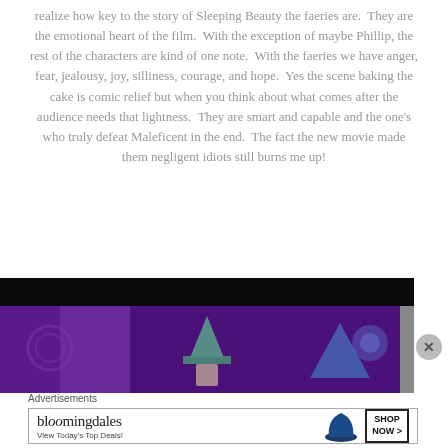realize how key to the story of Sleeping Beauty the faeries are.  They are the emotional heart of the film.  With the exception of maybe Phillip, the rest of the characters are kind of one note.  With the faeries we have anger, fear, jealousy, joy, silliness, courage, and hope.  Yes the scene baking the cake is comic relief but when you think about what comes after the audience needs that lightness.  They are smart and capable and the one's who truly defeat Maleficent in the end.  The fact the new movie made them negligent idiots still burns me up!
[Figure (photo): Screenshot from what appears to be an animated film (Sleeping Beauty), showing a purple/dark background with animated characters including one wearing a pointed hat. Upper portion is black.]
Advertisements
[Figure (other): Bloomingdale's advertisement banner showing the Bloomingdales logo, text 'View Today's Top Deals!', a woman in a large blue hat, and a 'SHOP NOW >' button.]